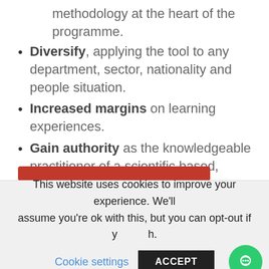methodology at the heart of the programme.
Diversify, applying the tool to any department, sector, nationality and people situation.
Increased margins on learning experiences.
Gain authority as the knowledgeable practitioner of a scientific based, development methodology.
This website uses cookies to improve your experience. We'll assume you're ok with this, but you can opt-out if you wish.